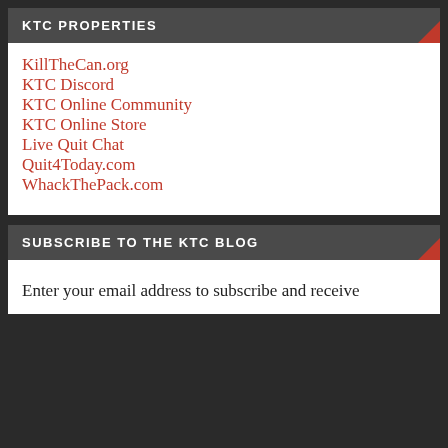KTC PROPERTIES
KillTheCan.org
KTC Discord
KTC Online Community
KTC Online Store
Live Quit Chat
Quit4Today.com
WhackThePack.com
SUBSCRIBE TO THE KTC BLOG
Enter your email address to subscribe and receive